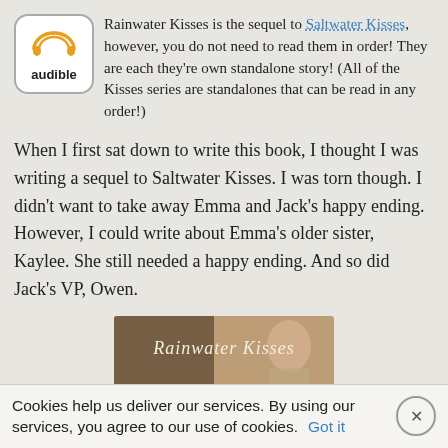[Figure (logo): Audible logo: orange wifi/headphone icon above the word 'audible' in a white rounded square]
Rainwater Kisses is the sequel to Saltwater Kisses, however, you do not need to read them in order! They are each they're own standalone story! (All of the Kisses series are standalones that can be read in any order!)
When I first sat down to write this book, I thought I was writing a sequel to Saltwater Kisses. I was torn though. I didn't want to take away Emma and Jack's happy ending. However, I could write about Emma's older sister, Kaylee. She still needed a happy ending. And so did Jack's VP, Owen.
[Figure (photo): Book cover image of 'Rainwater Kisses' with cursive text on a photo background of a person]
Cookies help us deliver our services. By using our services, you agree to our use of cookies. Got it